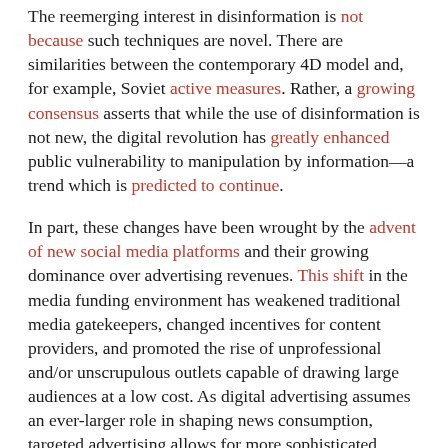The reemerging interest in disinformation is not because such techniques are novel. There are similarities between the contemporary 4D model and, for example, Soviet active measures. Rather, a growing consensus asserts that while the use of disinformation is not new, the digital revolution has greatly enhanced public vulnerability to manipulation by information—a trend which is predicted to continue.
In part, these changes have been wrought by the advent of new social media platforms and their growing dominance over advertising revenues. This shift in the media funding environment has weakened traditional media gatekeepers, changed incentives for content providers, and promoted the rise of unprofessional and/or unscrupulous outlets capable of drawing large audiences at a low cost. As digital advertising assumes an ever-larger role in shaping news consumption, targeted advertising allows for more sophisticated forms of propaganda: for example, in September of 2017, Facebook disclosed that roughly 3,000 [ads targeted to divisive US political issues were purchased by]